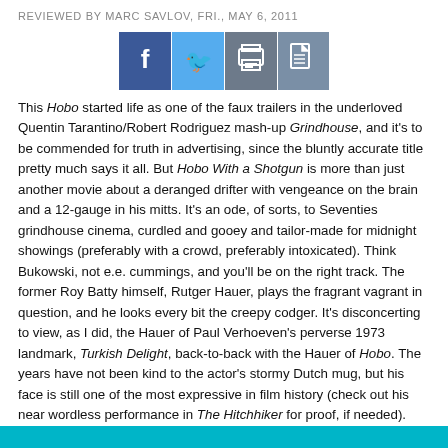REVIEWED BY MARC SAVLOV, FRI., MAY 6, 2011
[Figure (other): Social sharing buttons: Facebook, Twitter, Print, Save]
This Hobo started life as one of the faux trailers in the underloved Quentin Tarantino/Robert Rodriguez mash-up Grindhouse, and it's to be commended for truth in advertising, since the bluntly accurate title pretty much says it all. But Hobo With a Shotgun is more than just another movie about a deranged drifter with vengeance on the brain and a 12-gauge in his mitts. It's an ode, of sorts, to Seventies grindhouse cinema, curdled and gooey and tailor-made for midnight showings (preferably with a crowd, preferably intoxicated). Think Bukowski, not e.e. cummings, and you'll be on the right track. The former Roy Batty himself, Rutger Hauer, plays the fragrant vagrant in question, and he looks every bit the creepy codger. It's disconcerting to view, as I did, the Hauer of Paul Verhoeven's perverse 1973 landmark, Turkish Delight, back-to-back with the Hauer of Hobo. The years have not been kind to the actor's stormy Dutch mug, but his face is still one of the most expressive in film history (check out his near wordless performance in The Hitchhiker for proof, if needed). Director Eisener knows his Seventies scum-